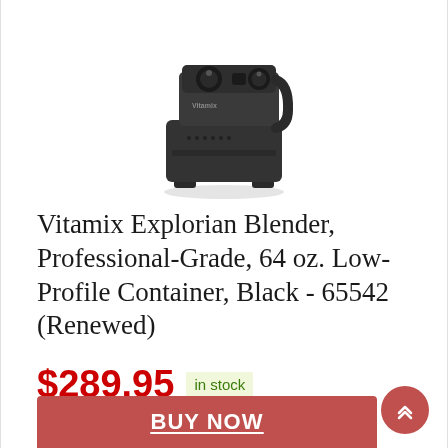[Figure (photo): Vitamix Explorian blender base unit, black color, viewed from the front-side angle showing the motor base with control knobs on top.]
Vitamix Explorian Blender, Professional-Grade, 64 oz. Low-Profile Container, Black - 65542 (Renewed)
$289.95 in stock
2 new from $289.95
Free shipping
BUY NOW